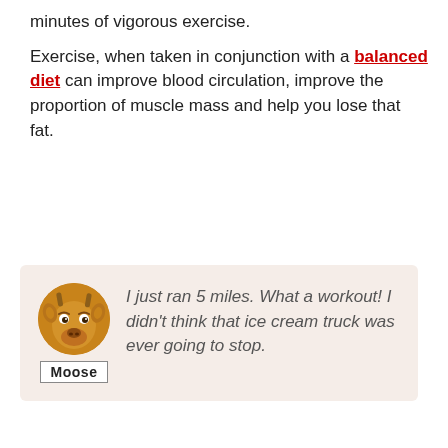minutes of vigorous exercise.

Exercise, when taken in conjunction with a balanced diet can improve blood circulation, improve the proportion of muscle mass and help you lose that fat.
[Figure (illustration): A quote box with a light beige/pink background containing a cartoon moose avatar (circular image) labeled 'Moose' with italic text: 'I just ran 5 miles. What a workout! I didn't think that ice cream truck was ever going to stop.']